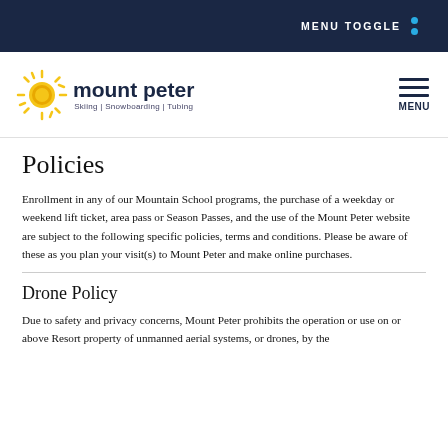MENU TOGGLE
[Figure (logo): Mount Peter logo with sun icon and text 'mount peter' with tagline 'Skiing | Snowboarding | Tubing']
Policies
Enrollment in any of our Mountain School programs, the purchase of a weekday or weekend lift ticket, area pass or Season Passes, and the use of the Mount Peter website are subject to the following specific policies, terms and conditions. Please be aware of these as you plan your visit(s) to Mount Peter and make online purchases.
Drone Policy
Due to safety and privacy concerns, Mount Peter prohibits the operation or use on or above Resort property of unmanned aerial systems, or drones, by the